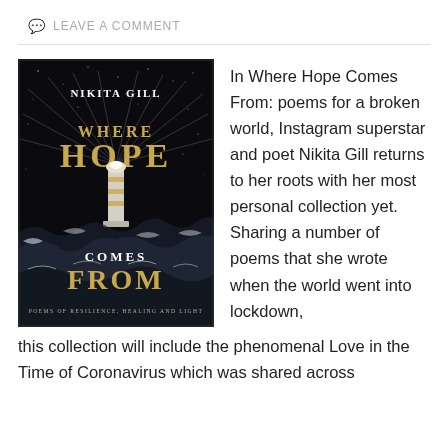LEAVE A COMMENT
[Figure (photo): Book cover of 'Where Hope Comes From' by Nikita Gill. Black background with a lighthouse emitting light rays surrounded by waves. Gold and white lettering. Subtitle: POEMS OF RESILIENCE, HEALING AND LIGHT]
In Where Hope Comes From: poems for a broken world, Instagram superstar and poet Nikita Gill returns to her roots with her most personal collection yet. Sharing a number of poems that she wrote when the world went into lockdown, this collection will include the phenomenal Love in the Time of Coronavirus which was shared across